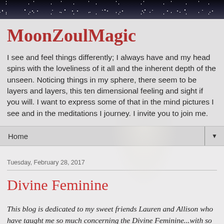[Figure (photo): Dark starry night sky background banner at top of page]
MoonZoulMagic
I see and feel things differently; I always have and my head spins with the loveliness of it all and the inherent depth of the unseen. Noticing things in my sphere, there seem to be layers and layers, this ten dimensional feeling and sight if you will. I want to express some of that in the mind pictures I see and in the meditations I journey. I invite you to join me.
Home ▼
Tuesday, February 28, 2017
Divine Feminine
This blog is dedicated to my sweet friends Lauren and Allison who have taught me so much concerning the Divine Feminine...with so much love